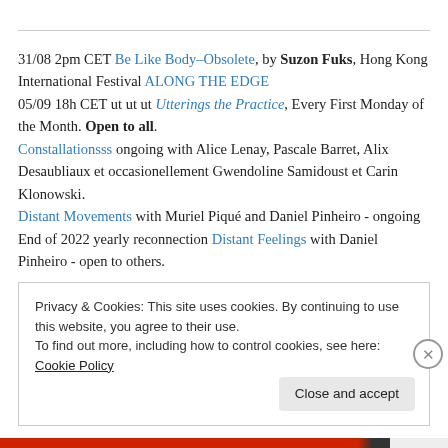31/08 2pm CET Be Like Body–Obsolete, by Suzon Fuks, Hong Kong International Festival ALONG THE EDGE
05/09 18h CET ut ut ut Utterings the Practice, Every First Monday of the Month. Open to all.
Constallationsss ongoing with Alice Lenay, Pascale Barret, Alix Desaubliaux et occasionellement Gwendoline Samidoust et Carin Klonowski.
Distant Movements with Muriel Piqué and Daniel Pinheiro - ongoing
End of 2022 yearly reconnection Distant Feelings with Daniel Pinheiro - open to others.
Privacy & Cookies: This site uses cookies. By continuing to use this website, you agree to their use.
To find out more, including how to control cookies, see here: Cookie Policy